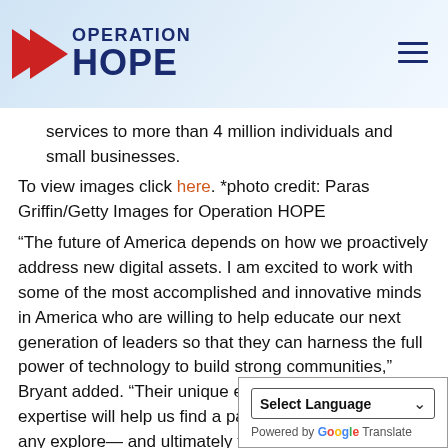[Figure (logo): Operation HOPE logo with red arrow chevron and dark blue text]
services to more than 4 million individuals and small businesses.
To view images click here. *photo credit: Paras Griffin/Getty Images for Operation HOPE
“The future of America depends on how we proactively address new digital assets. I am excited to work with some of the most accomplished and innovative minds in America who are willing to help educate our next generation of leaders so that they can harness the full power of technology to build strong communities,” Bryant added. “Their unique experiences and areas of expertise will help us find a path forward that benefits any explore— and ultimately take advan frontier."